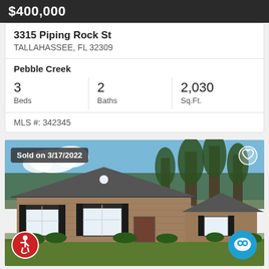$400,000
3315 Piping Rock St
TALLAHASSEE, FL 32309
Pebble Creek
3 Beds
2 Baths
2,030 Sq.Ft.
MLS #: 342345
[Figure (photo): Exterior photo of a brick ranch-style house with black shutters, trees in background, sold on 3/17/2022]